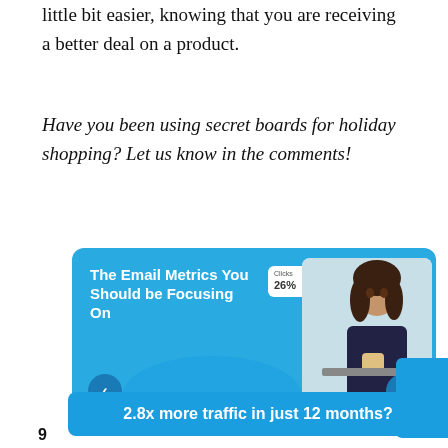little bit easier, knowing that you are receiving a better deal on a product.
Have you been using secret boards for holiday shopping? Let us know in the comments!
[Figure (screenshot): A promotional banner with blue background showing 'The Email Metrics You Should be Focusing On' with a Clicks metrics box showing 26% and a photo of a woman at a laptop, with left/right navigation arrows and Tailwind branding]
2.8x more traffic in just 12 months?
9